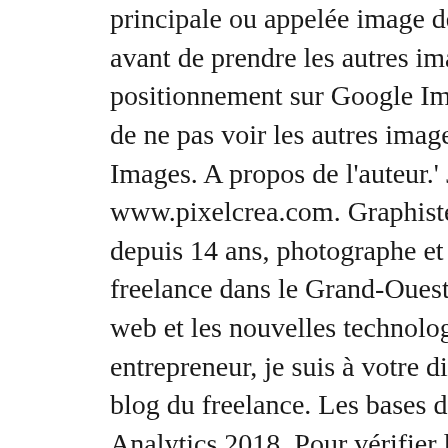principale ou appelée image de couverture avant de prendre les autres images dans son positionnement sur Google Images, au risque de ne pas voir les autres images sur Google Images. A propos de l'auteur.' Jacques Danilo www.pixelcrea.com. Graphiste indépendant depuis 14 ans, photographe et formateur freelance dans le Grand-Ouest. Passionné par le web et les nouvelles technologies, blogueur et entrepreneur, je suis à votre disposition.: Sur le blog du freelance. Les bases de Google Analytics 2018. Pour vérifier lefficacité de votre site internet, ou de mesurer des informations pertinentes lors de vos actions en webmarketing, loutil indispensable de. L'administration' de Wordpress. Dans ce tutoriel destiné aux